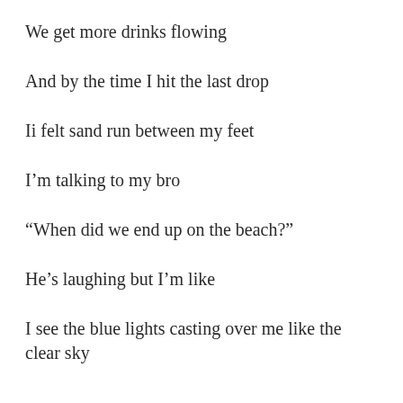We get more drinks flowing
And by the time I hit the last drop
Ii felt sand run between my feet
I'm talking to my bro
“When did we end up on the beach?”
He’s laughing but I’m like
I see the blue lights casting over me like the clear sky